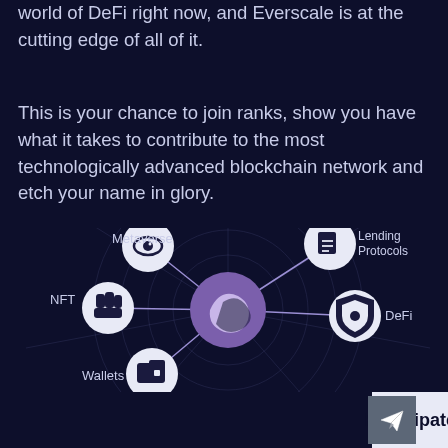world of DeFi right now, and Everscale is at the cutting edge of all of it.
This is your chance to join ranks, show you have what it takes to contribute to the most technologically advanced blockchain network and etch your name in glory.
[Figure (infographic): Network diagram showing Everscale blockchain ecosystem with central purple logo connected to satellite nodes: Metaverse (top-left), Lending Protocols (top-right), NFT (middle-left), DeFi (middle-right), Wallets (bottom-left). Connected by purple lines on dark navy background.]
Participate